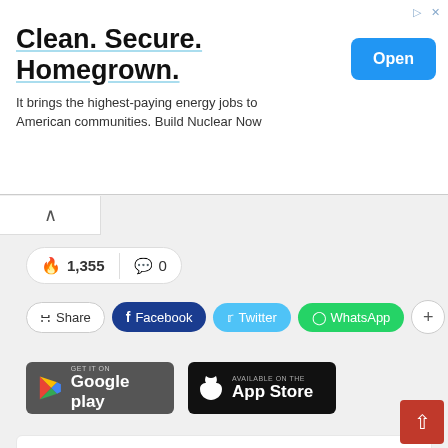[Figure (screenshot): Advertisement banner: 'Clean. Secure. Homegrown.' with subtitle 'It brings the highest-paying energy jobs to American communities. Build Nuclear Now' and a blue 'Open' button]
1,355  0
Share  Facebook  Twitter  WhatsApp  +
[Figure (logo): Google Play store download badge]
[Figure (logo): Apple App Store download badge]
Fazal Wahab
I am Civil Engineer by Profession and have love for High Rise Towers, Underground construction and Carbon Fiber Composites, automobiles is my first love. Its my passion to know and share